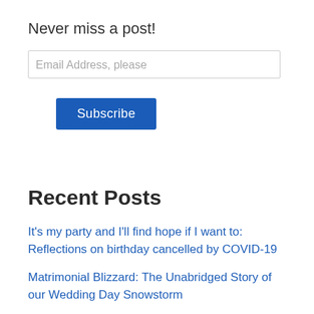Never miss a post!
Email Address, please
Subscribe
Recent Posts
It's my party and I'll find hope if I want to: Reflections on birthday cancelled by COVID-19
Matrimonial Blizzard: The Unabridged Story of our Wedding Day Snowstorm
Birthday Thanks for the Internet of (Free) Things